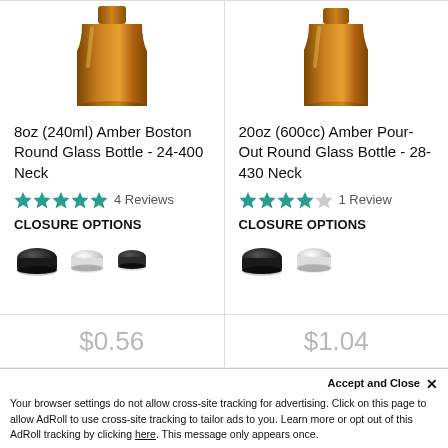[Figure (photo): Amber Boston Round Glass Bottle product image, top portion visible]
[Figure (photo): Amber Pour-Out Round Glass Bottle product image, top portion visible]
8oz (240ml) Amber Boston Round Glass Bottle - 24-400 Neck
20oz (600cc) Amber Pour-Out Round Glass Bottle - 28-430 Neck
4 Reviews
1 Review
CLOSURE OPTIONS
CLOSURE OPTIONS
[Figure (photo): Three closure cap options: black, white, dark small cap]
[Figure (photo): Two closure cap options: black, white]
$0.56
$1.04
Accept and Close ×
Your browser settings do not allow cross-site tracking for advertising. Click on this page to allow AdRoll to use cross-site tracking to tailor ads to you. Learn more or opt out of this AdRoll tracking by clicking here. This message only appears once.